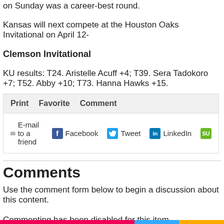on Sunday was a career-best round.
Kansas will next compete at the Houston Oaks Invitational on April 12-
Clemson Invitational
KU results: T24. Aristelle Acuff +4; T39. Sera Tadokoro +7; T52. Abby +10; T73. Hanna Hawks +15.
[Figure (other): Social sharing bar with Print, Favorite, Comment tabs, and E-mail to a friend, Facebook, Tweet, LinkedIn, and StumbleUpon share buttons]
Comments
Use the comment form below to begin a discussion about this content.
Commenting has been disabled for this item.